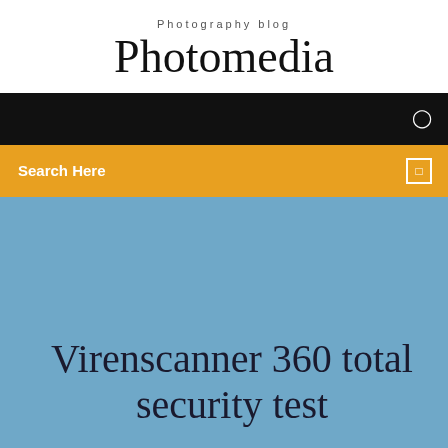Photography blog
Photomedia
☰
Search Here
☐
Virenscanner 360 total security test